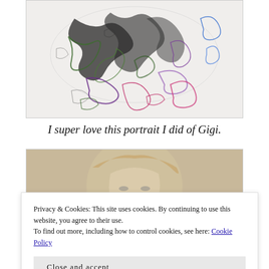[Figure (illustration): Abstract colorful artwork showing swirling, gestural lines in black, green, purple, pink, and blue on a light background — a portrait of Gigi rendered in expressive, chaotic strokes.]
I super love this portrait I did of Gigi.
[Figure (illustration): Partial view of another artwork, showing beige/tan background with hints of a figure (face/hair) below, partially obscured by the cookie banner.]
Privacy & Cookies: This site uses cookies. By continuing to use this website, you agree to their use.
To find out more, including how to control cookies, see here: Cookie Policy
Close and accept